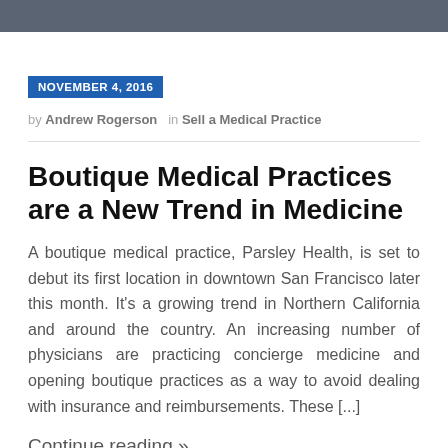NOVEMBER 4, 2016
by Andrew Rogerson  in Sell a Medical Practice
Boutique Medical Practices are a New Trend in Medicine
A boutique medical practice, Parsley Health, is set to debut its first location in downtown San Francisco later this month. It's a growing trend in Northern California and around the country. An increasing number of physicians are practicing concierge medicine and opening boutique practices as a way to avoid dealing with insurance and reimbursements. These [...]
Continue reading »